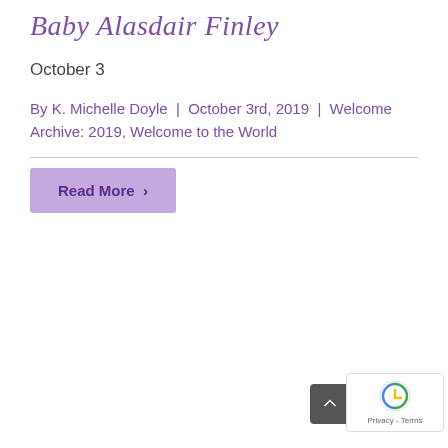Baby Alasdair Finley
October 3
By K. Michelle Doyle | October 3rd, 2019 | Welcome Archive: 2019, Welcome to the World
Read More >